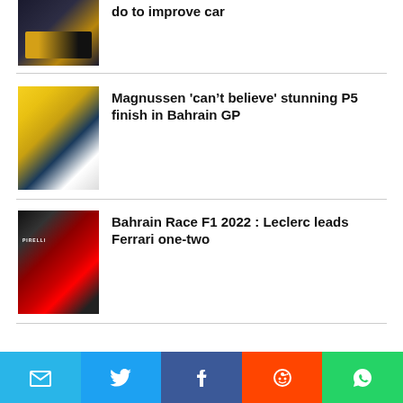do to improve car
[Figure (photo): F1 car on track, dark background with yellow/gold livery]
[Figure (photo): Racing driver portrait with yellow background]
Magnussen 'can't believe' stunning P5 finish in Bahrain GP
[Figure (photo): Ferrari F1 cars racing at night, Bahrain GP 2022]
Bahrain Race F1 2022 : Leclerc leads Ferrari one-two